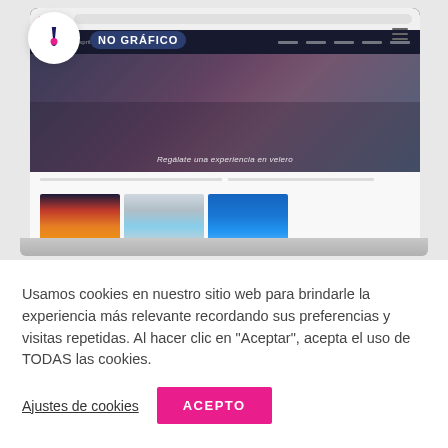[Figure (screenshot): Screenshot of a sailing/yachting website displayed on a laptop mockup, with a navigation bar, hero image showing people on a sailboat, and three thumbnail images below. A circular warning icon with exclamation mark overlays the top-left. The site title tag reads 'NO GRÁFICO'.]
Usamos cookies en nuestro sitio web para brindarle la experiencia más relevante recordando sus preferencias y visitas repetidas. Al hacer clic en "Aceptar", acepta el uso de TODAS las cookies.
Ajustes de cookies
ACEPTO